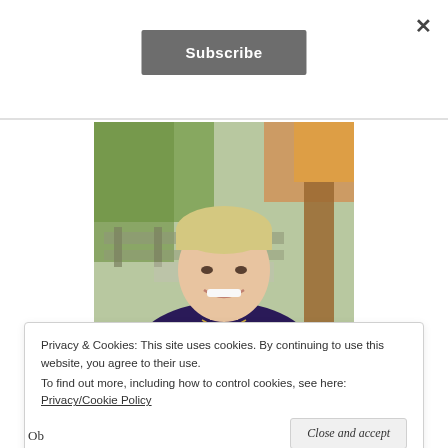×
Subscribe
[Figure (photo): Portrait photo of a smiling woman with short blonde hair wearing a dark purple top, photographed outdoors with trees and green foliage in the background.]
Privacy & Cookies: This site uses cookies. By continuing to use this website, you agree to their use.
To find out more, including how to control cookies, see here: Privacy/Cookie Policy
Close and accept
Ob...